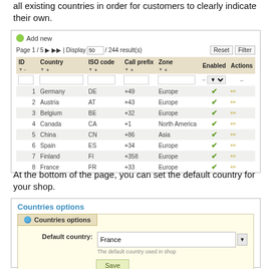all existing countries in order for customers to clearly indicate their own.
[Figure (screenshot): Admin panel screenshot showing a countries list table with columns ID, Country, ISO code, Call prefix, Zone, Enabled, Actions. Page 1/5 with 244 results. Countries shown: 1 Germany DE +49 Europe, 2 Austria AT +43 Europe, 3 Belgium BE +32 Europe, 4 Canada CA +1 North America, 5 China CN +86 Asia, 6 Spain ES +34 Europe, 7 Finland FI +358 Europe, 8 France FR +33 Europe. All enabled.]
At the bottom of the page, you can set the default country for your shop.
[Figure (screenshot): Countries options panel with a globe icon header, Default country field set to France with a dropdown, hint text 'The default country used in shop', and a Save button.]